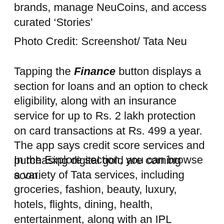brands, manage NeuCoins, and access curated ‘Stories’
Photo Credit: Screenshot/ Tata Neu
Tapping the Finance button displays a section for loans and an option to check eligibility, along with an insurance service for up to Rs. 2 lakh protection on card transactions at Rs. 499 a year. The app says credit score services and purchasing digital gold are coming soon.
In the Explore section, you can browse a variety of Tata services, including groceries, fashion, beauty, luxury, hotels, flights, dining, health, entertainment, along with an IPL section. You will be able to browse for different services and make purchases